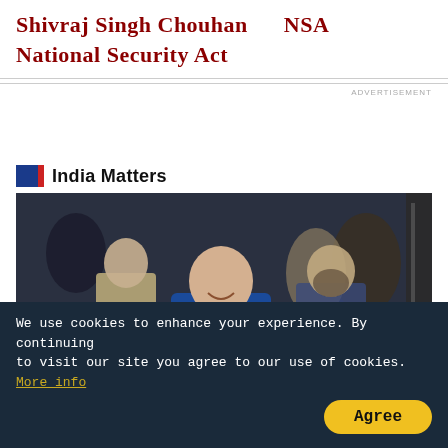Shivraj Singh Chouhan    NSA
National Security Act
ADVERTISEMENT
India Matters
[Figure (photo): A man in a blue polo shirt (Manish Sisodia) smiling, surrounded by police officers and media personnel holding microphones and cameras.]
We use cookies to enhance your experience. By continuing to visit our site you agree to our use of cookies. More info